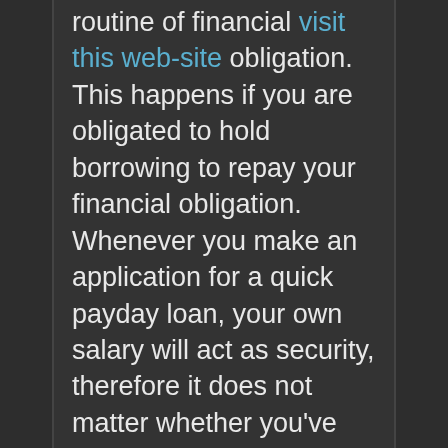routine of financial visit this web-site obligation. This happens if you are obligated to hold borrowing to repay your financial obligation. Whenever you make an application for a quick payday loan, your own salary will act as security, therefore it does not matter whether you've got less than perfect credit. The lender has got the authority to withdraw out of your banking account as soon as you receive your future